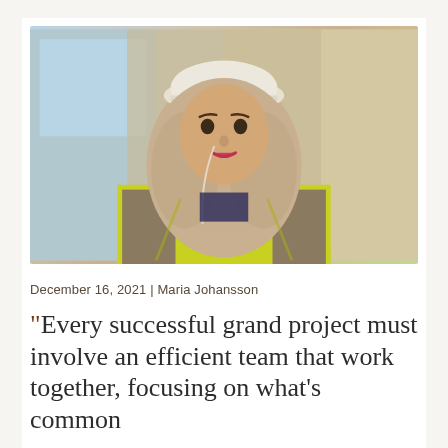[Figure (photo): A woman wearing a white hard hat, hijab, and yellow high-visibility vest, smiling at the camera. Background shows a construction or industrial setting.]
December 16, 2021 | Maria Johansson
“Every successful grand project must involve an efficient team that work together, focusing on what’s common